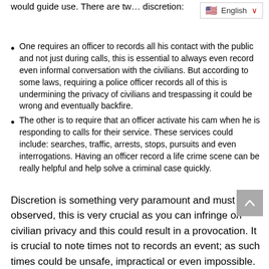would guide use. There are tw… discretion:
One requires an officer to records all his contact with the public and not just during calls, this is essential to always even record even informal conversation with the civilians. But according to some laws, requiring a police officer records all of this is undermining the privacy of civilians and trespassing it could be wrong and eventually backfire.
The other is to require that an officer activate his cam when he is responding to calls for their service. These services could include: searches, traffic, arrests, stops, pursuits and even interrogations. Having an officer record a life crime scene can be really helpful and help solve a criminal case quickly.
Discretion is something very paramount and must be observed, this is very crucial as you can infringe on civilian privacy and this could result in a provocation. It is crucial to note times not to records an event; as such times could be unsafe, impractical or even impossible.